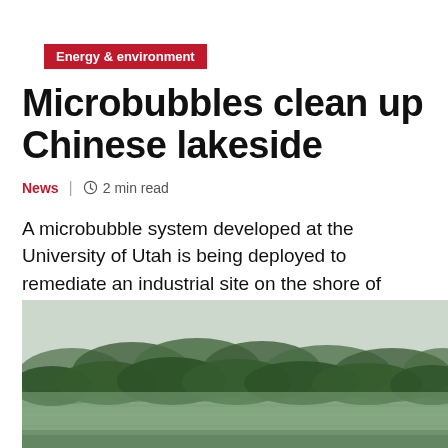Energy & environment
Microbubbles clean up Chinese lakeside
News | 2 min read
A microbubble system developed at the University of Utah is being deployed to remediate an industrial site on the shore of Lake Taihu in China.
[Figure (photo): A photograph of Lake Taihu in China, showing a calm green lake with trees and vegetation along the far shoreline under an overcast sky.]